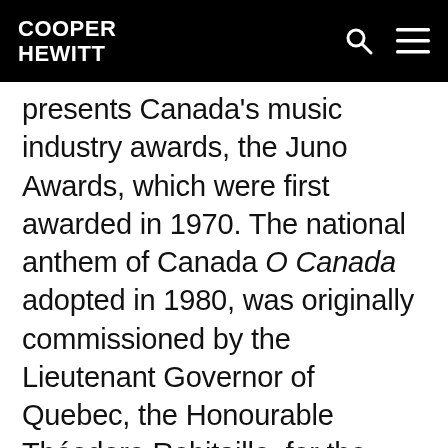COOPER HEWITT
presents Canada's music industry awards, the Juno Awards, which were first awarded in 1970. The national anthem of Canada O Canada adopted in 1980, was originally commissioned by the Lieutenant Governor of Quebec, the Honourable Théodore Robitaille, for the 1880 St. Jean-Baptiste Day ceremony.Calixa Lavallée wrote the music, which was a setting of a patriotic poem composed by the poet and judge Sir Adolphe-Basile Routhier. The text was